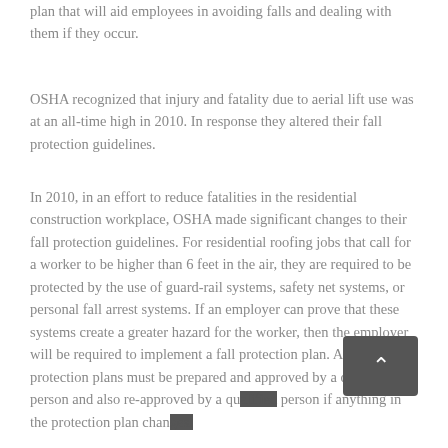plan that will aid employees in avoiding falls and dealing with them if they occur.
OSHA recognized that injury and fatality due to aerial lift use was at an all-time high in 2010. In response they altered their fall protection guidelines.
In 2010, in an effort to reduce fatalities in the residential construction workplace, OSHA made significant changes to their fall protection guidelines. For residential roofing jobs that call for a worker to be higher than 6 feet in the air, they are required to be protected by the use of guard-rail systems, safety net systems, or personal fall arrest systems. If an employer can prove that these systems create a greater hazard for the worker, then the employer will be required to implement a fall protection plan. All fall protection plans must be prepared and approved by a qualified person and also re-approved by a qualified person if anything in the protection plan changes.
...